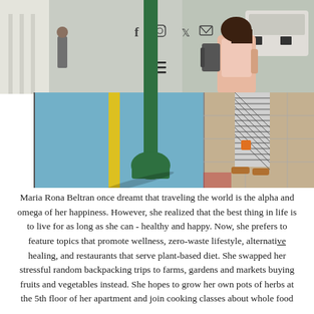[Figure (photo): Street photo showing a woman standing on a sidewalk next to a large green pole/bollard. The street has a blue painted bike lane with a yellow stripe. There are buildings on the left, a guard figure visible on the far left, and cars on the right. The woman is wearing patterned pants and sandals and carrying a backpack. Social media icons (Facebook, Instagram, Twitter, email) and a hamburger menu icon are overlaid on the upper portion of the image.]
Maria Rona Beltran once dreamt that traveling the world is the alpha and omega of her happiness. However, she realized that the best thing in life is to live for as long as she can - healthy and happy. Now, she prefers to feature topics that promote wellness, zero-waste lifestyle, alternative healing, and restaurants that serve plant-based diet. She swapped her stressful random backpacking trips to farms, gardens and markets buying fruits and vegetables instead. She hopes to grow her own pots of herbs at the 5th floor of her apartment and join cooking classes about whole food